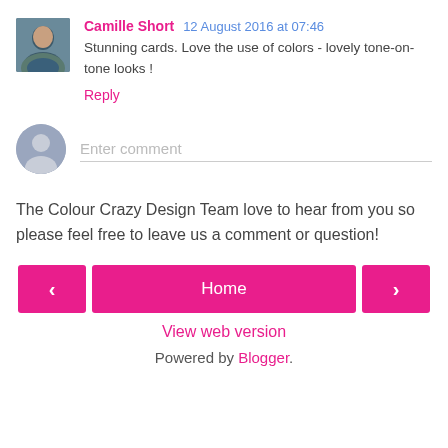[Figure (photo): Avatar photo of Camille Short, a woman with dark hair]
Camille Short 12 August 2016 at 07:46
Stunning cards. Love the use of colors - lovely tone-on-tone looks !
Reply
[Figure (illustration): Generic user avatar silhouette icon in gray circle]
Enter comment
The Colour Crazy Design Team love to hear from you so please feel free to leave us a comment or question!
< Home >
View web version
Powered by Blogger.